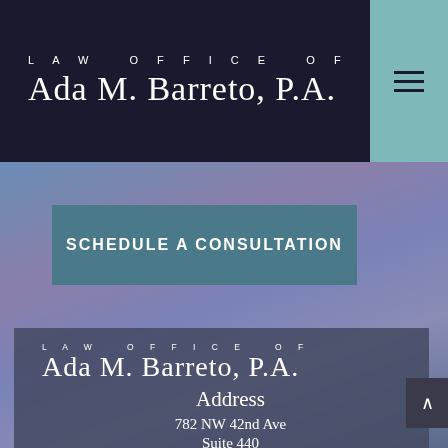LAW OFFICE OF Ada M. Barreto, P.A.
SCHEDULE A CONSULTATION
[Figure (screenshot): Website screenshot of Law Office of Ada M. Barreto P.A. showing navigation header with dark background and teal menu button, a gradient blue-purple background with a 'Schedule a Consultation' button, and a footer card with law office name, address section heading, and address lines.]
LAW OFFICE OF Ada M. Barreto, P.A.
Address
782 NW 42nd Ave
Suite 440
Miami, FL 33126